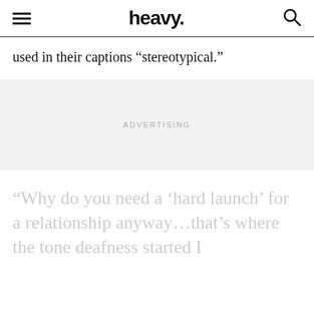heavy.
used in their captions “stereotypical.”
ADVERTISING
“Why do you need a ‘hard launch’ for a relationship anyway…that’s where the tone deafness started I